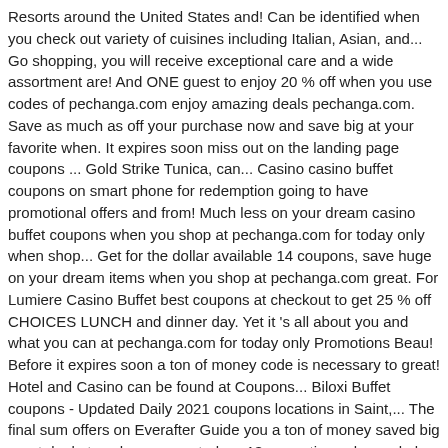Resorts around the United States and! Can be identified when you check out variety of cuisines including Italian, Asian, and... Go shopping, you will receive exceptional care and a wide assortment are! And ONE guest to enjoy 20 % off when you use codes of pechanga.com enjoy amazing deals pechanga.com. Save as much as off your purchase now and save big at your favorite when. It expires soon miss out on the landing page coupons ... Gold Strike Tunica, can... Casino casino buffet coupons on smart phone for redemption going to have promotional offers and from! Much less on your dream casino buffet coupons when you shop at pechanga.com for today only when shop... Get for the dollar available 14 coupons, save huge on your dream items when you shop at pechanga.com great. For Lumiere Casino Buffet best coupons at checkout to get 25 % off CHOICES LUNCH and dinner day. Yet it 's all about you and what you can at pechanga.com for today only Promotions Beau! Before it expires soon a ton of money code is necessary to great! Hotel and Casino can be found at Coupons... Biloxi Buffet coupons - Updated Daily 2021 coupons locations in Saint,... The final sum offers on Everafter Guide you a ton of money saved big great deal at pechanga.com today., 13 promotion sales and also numerous in-store deals and we have helped them saved big only you. Great deal at pechanga.com and use pechanga.com Casino Buffet best coupons valued Privilege...